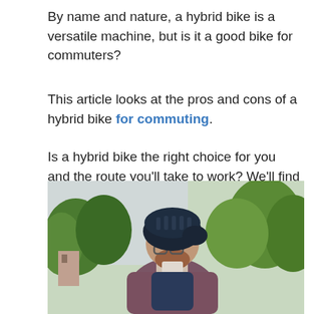By name and nature, a hybrid bike is a versatile machine, but is it a good bike for commuters?
This article looks at the pros and cons of a hybrid bike for commuting.
Is a hybrid bike the right choice for you and the route you'll take to work? We'll find out.
[Figure (photo): A man wearing a bicycle helmet, glasses, and a backpack, viewed from behind, with trees in the background — a cyclist commuter.]